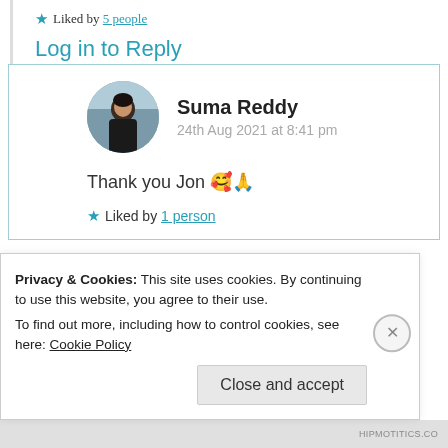★ Liked by 5 people
Log in to Reply
Suma Reddy
24th Aug 2021 at 8:41 pm
Thank you Jon 🥰🙏
★ Liked by 1 person
Privacy & Cookies: This site uses cookies. By continuing to use this website, you agree to their use.
To find out more, including how to control cookies, see here: Cookie Policy
Close and accept